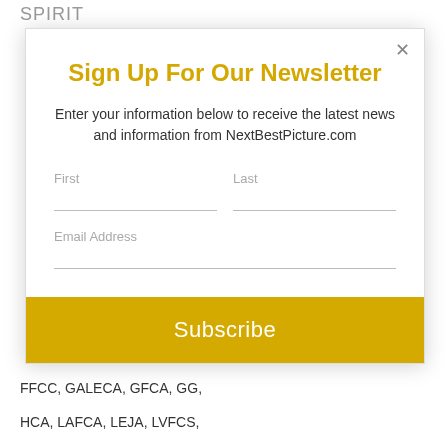SPIRIT
[Figure (screenshot): Newsletter sign-up modal dialog with title 'Sign Up For Our Newsletter', description text, First/Last name fields, Email Address field, and a yellow Subscribe button]
FFCC, GALECA, GFCA, GG,
HCA, LAFCA, LEJA, LVFCS,